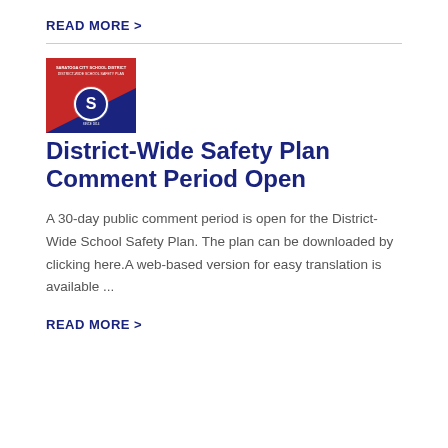READ MORE >
[Figure (photo): Cover image of District-Wide School Safety Plan document showing red and blue design with letter S logo]
District-Wide Safety Plan Comment Period Open
A 30-day public comment period is open for the District-Wide School Safety Plan. The plan can be downloaded by clicking here.A web-based version for easy translation is available ...
READ MORE >